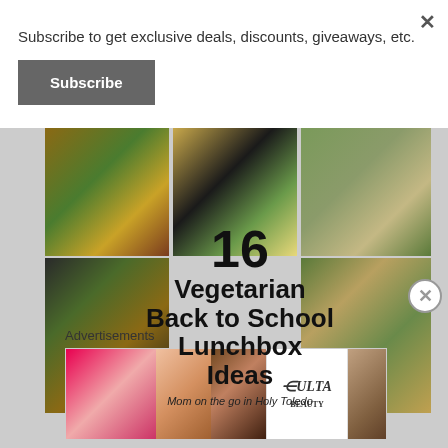Subscribe to get exclusive deals, discounts, giveaways, etc.
Subscribe
[Figure (photo): Food collage showing tacos, lunch boxes with pita and vegetables, wraps, meal prep containers, and sushi rolls. Text overlay reads '16 Vegetarian Back to School Lunchbox Ideas - Mom on the go in Holy Toledo']
Advertisements
[Figure (other): Advertisement banner showing Ulta Beauty cosmetics products with makeup imagery and SHOP NOW call to action]